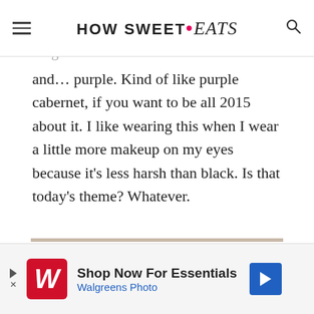HOW SWEET • eats
wore this almost everyday last year and it's a great purple shade without looking bright and… purple. Kind of like purple cabernet, if you want to be all 2015 about it. I like wearing this when I wear a little more makeup on my eyes because it's less harsh than black. Is that today's theme? Whatever.
[Figure (photo): Open makeup palette with mirror and eyeshadow pans in various nude, brown, purple shades arranged in rows]
Shop Now For Essentials Walgreens Photo